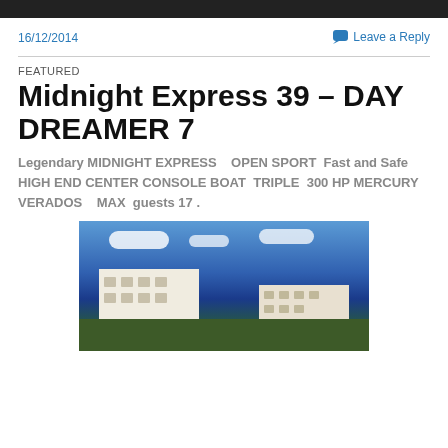16/12/2014
Leave a Reply
FEATURED
Midnight Express 39 – DAY DREAMER 7
Legendary MIDNIGHT EXPRESS   OPEN SPORT  Fast and Safe HIGH END CENTER CONSOLE BOAT  TRIPLE  300 HP MERCURY VERADOS   MAX  guests 17 .
[Figure (photo): Outdoor photo showing white Mediterranean-style buildings under a vivid blue sky with clouds, with green vegetation in the foreground.]